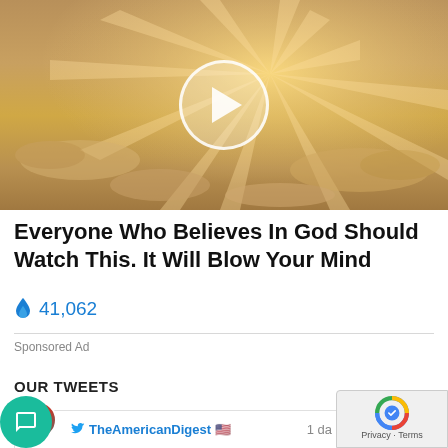[Figure (screenshot): Video thumbnail showing a golden sky with sunrays and clouds, overlaid with a white circular play button in the center]
Everyone Who Believes In God Should Watch This. It Will Blow Your Mind
🔥 41,062
Sponsored Ad
OUR TWEETS
72
TheAmericanDigest 🇺🇸
1 da